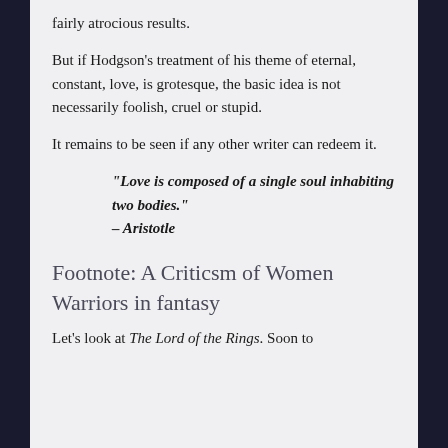fairly atrocious results.
But if Hodgson's treatment of his theme of eternal, constant, love, is grotesque, the basic idea is not necessarily foolish, cruel or stupid.
It remains to be seen if any other writer can redeem it.
"Love is composed of a single soul inhabiting two bodies." – Aristotle
Footnote: A Criticsm of Women Warriors in fantasy
Let's look at The Lord of the Rings. Soon to